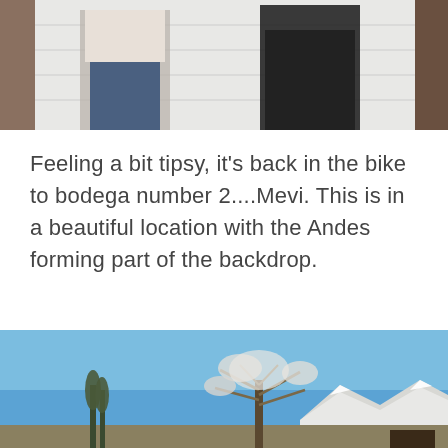[Figure (photo): Two people standing in front of a white brick wall, one wearing light top and jeans, the other in dark jacket]
Feeling a bit tipsy, it's back in the bike to bodega number 2....Mevi. This is in a beautiful location with the Andes forming part of the backdrop.
[Figure (photo): Outdoor landscape scene with a bare tree in foreground against a clear blue sky, with snow-capped Andes mountains visible in the background]